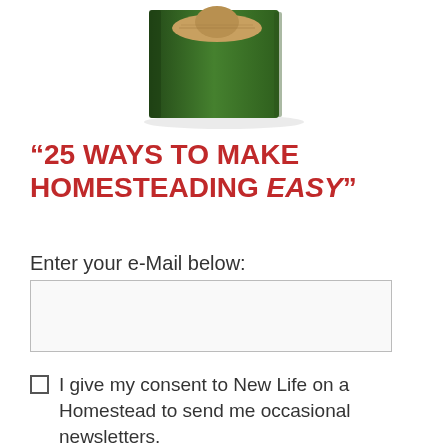[Figure (photo): Book cover showing a person wearing a straw hat in a green field, partially visible at top of page]
“25 WAYS TO MAKE HOMESTEADING EASY”
Enter your e-Mail below:
I give my consent to New Life on a Homestead to send me occasional newsletters.
Subscribe